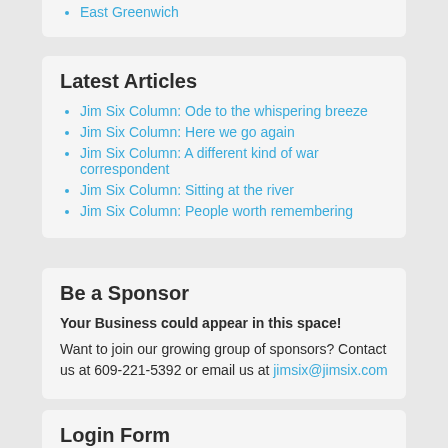East Greenwich
Latest Articles
Jim Six Column: Ode to the whispering breeze
Jim Six Column: Here we go again
Jim Six Column: A different kind of war correspondent
Jim Six Column: Sitting at the river
Jim Six Column: People worth remembering
Be a Sponsor
Your Business could appear in this space!
Want to join our growing group of sponsors? Contact us at 609-221-5392 or email us at jimsix@jimsix.com
Login Form